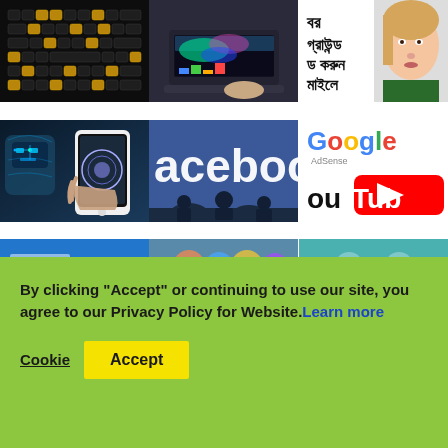[Figure (photo): Close-up of a dark keyboard with golden-lit keys]
[Figure (photo): Person using a laptop with colorful screen showing data/charts]
[Figure (photo): Bangla text overlay on image of a woman - background removal tutorial]
[Figure (photo): AI robot face and hand holding smartphone]
[Figure (photo): Facebook logo/wordmark on blue background with silhouette]
[Figure (logo): Google AdSense and YouTube logos side by side]
[Figure (photo): Partial blue banner image]
[Figure (photo): Partial colorful image]
[Figure (photo): Partial teal image with icons]
By clicking "Accept" or continuing to use our site, you agree to our Privacy Policy for Website. Learn more
Cookie  Accept